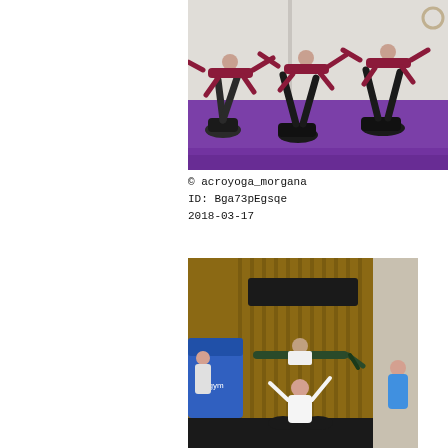[Figure (photo): Group of people performing acro yoga poses on a purple mat in a white gym. Some are lying on their backs with legs raised supporting others who are balancing horizontally above them. Participants wear maroon/black athletic clothing.]
© acroyoga_morgana
ID: Bga73pEgsqe
2018-03-17
[Figure (photo): Group of people performing an acro yoga/acrobatics stacking pyramid in a gymnasium with wooden bars on the wall and blue crash mats. A person in dark clothing is balanced horizontally at the top supported by those below.]